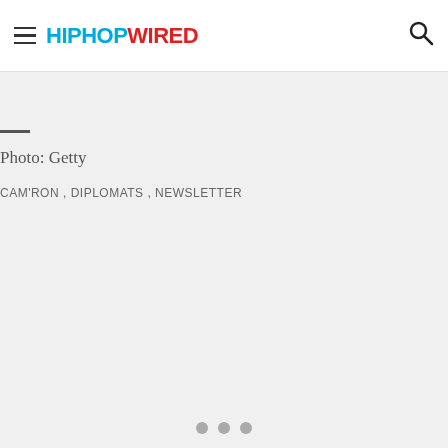HIPHOPWIRED
Photo: Getty
CAM'RON , DIPLOMATS , NEWSLETTER